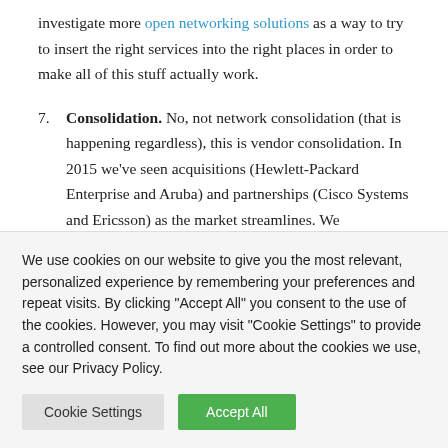investigate more open networking solutions as a way to try to insert the right services into the right places in order to make all of this stuff actually work.
7. Consolidation. No, not network consolidation (that is happening regardless), this is vendor consolidation. In 2015 we've seen acquisitions (Hewlett-Packard Enterprise and Aruba) and partnerships (Cisco Systems and Ericsson) as the market streamlines. We
We use cookies on our website to give you the most relevant, personalized experience by remembering your preferences and repeat visits. By clicking "Accept All" you consent to the use of the cookies. However, you may visit "Cookie Settings" to provide a controlled consent. To find out more about the cookies we use, see our Privacy Policy.